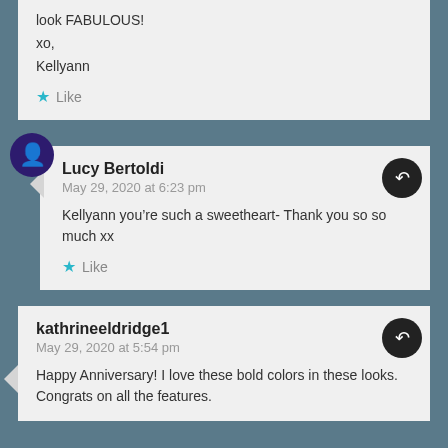look FABULOUS!
xo,
Kellyann
Like
Lucy Bertoldi
May 29, 2020 at 6:23 pm
Kellyann you’re such a sweetheart- Thank you so so much xx
Like
kathrineeldridge1
May 29, 2020 at 5:54 pm
Happy Anniversary! I love these bold colors in these looks. Congrats on all the features.